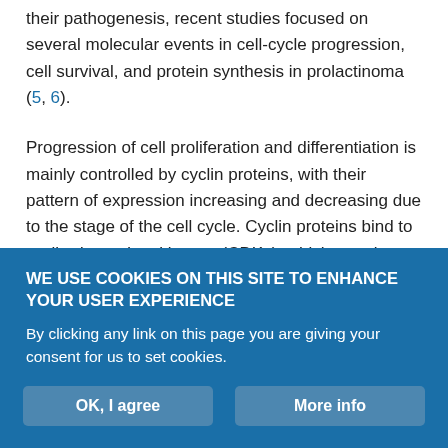their pathogenesis, recent studies focused on several molecular events in cell-cycle progression, cell survival, and protein synthesis in prolactinoma (5, 6).
Progression of cell proliferation and differentiation is mainly controlled by cyclin proteins, with their pattern of expression increasing and decreasing due to the stage of the cell cycle. Cyclin proteins bind to cyclin-dependent kinases (CDKs), which remain at a constant level during the cell cycle, and stimulate activation of cell-cycle progression. These cyclin and CDKs are characteristic for each phase of the cell cycle and are regulated by cyclin-dependent kinase inhibitors (CKI), which suppress formation of these compounds and
WE USE COOKIES ON THIS SITE TO ENHANCE YOUR USER EXPERIENCE
By clicking any link on this page you are giving your consent for us to set cookies.